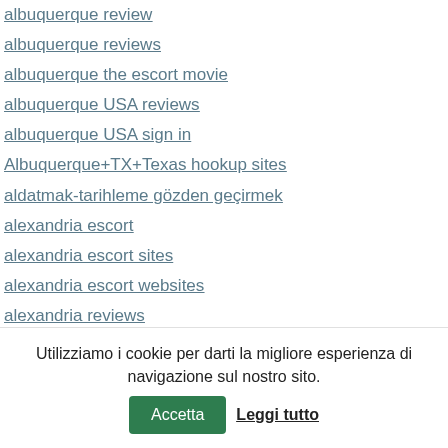albuquerque review
albuquerque reviews
albuquerque the escort movie
albuquerque USA reviews
albuquerque USA sign in
Albuquerque+TX+Texas hookup sites
aldatmak-tarihleme gözden geçirmek
alexandria escort
alexandria escort sites
alexandria escort websites
alexandria reviews
alexandria the escort movie
all american payday loans
All_dop_fr site rencontre
All_dop_short recontre
Utilizziamo i cookie per darti la migliore esperienza di navigazione sul nostro sito.
Accetta
Leggi tutto